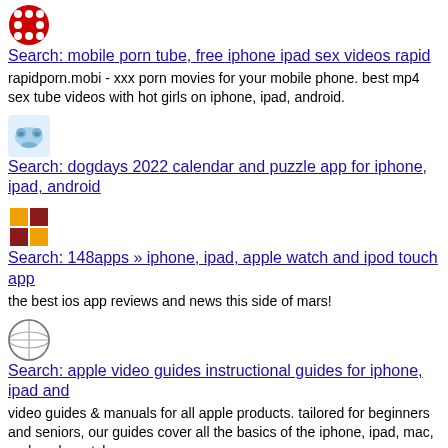Search: mobile porn tube, free iphone ipad sex videos rapid
rapidporn.mobi - xxx porn movies for your mobile phone. best mp4 sex tube videos with hot girls on iphone, ipad, android.
Search: dogdays 2022 calendar and puzzle app for iphone, ipad, android
Search: 148apps » iphone, ipad, apple watch and ipod touch app
the best ios app reviews and news this side of mars!
Search: apple video guides instructional guides for iphone, ipad and
video guides & manuals for all apple products. tailored for beginners and seniors, our guides cover all the basics of the iphone, ipad, mac, and apple watch.
Search: apple news about mac, iphone, ipad mtech.news
news site, covering macs, iphones, ipad and everything else that's important for the it world and apple world
Search: телефоны смартфоны новинки samsung nokia lg